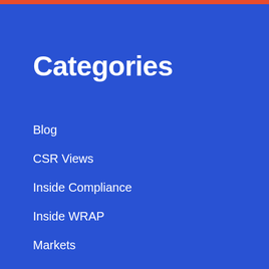Categories
Blog
CSR Views
Inside Compliance
Inside WRAP
Markets
News
Shows and Events
Training